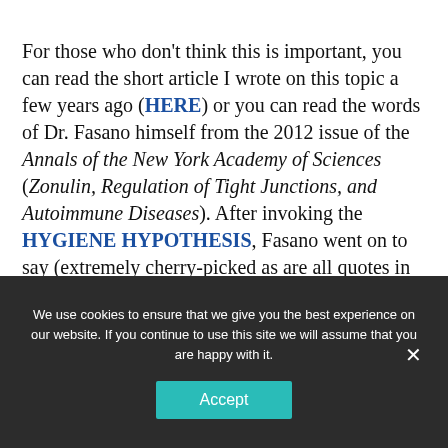For those who don't think this is important, you can read the short article I wrote on this topic a few years ago (HERE) or you can read the words of Dr. Fasano himself from the 2012 issue of the Annals of the New York Academy of Sciences (Zonulin, Regulation of Tight Junctions, and Autoimmune Diseases). After invoking the HYGIENE HYPOTHESIS, Fasano went on to say (extremely cherry-picked as are all quotes in this post)…..
We use cookies to ensure that we give you the best experience on our website. If you continue to use this site we will assume that you are happy with it.